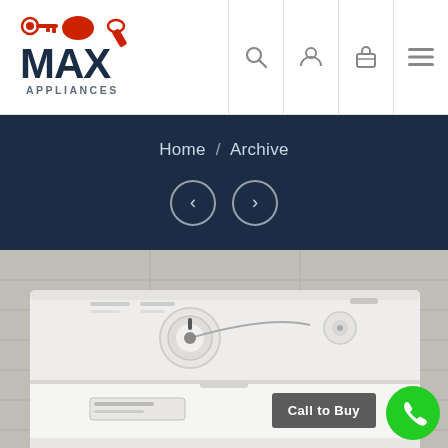[Figure (logo): Max Appliances logo with red wrench/fist icon and bold dark blue MAX text with APPLIANCES below]
[Figure (screenshot): Navigation icons: search, user, shopping bag, hamburger menu]
Home / Archive
[Figure (other): Left and right navigation arrow buttons in circular outlines on dark navy banner]
[Figure (photo): White top-load washing machine close-up showing control panel with dial and knobs against grey wall]
Call to Buy